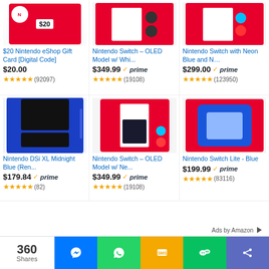[Figure (screenshot): Amazon product listing screenshot showing Nintendo products in a 3-column grid. Top row: $20 Nintendo eShop Gift Card, Nintendo Switch OLED Model w/ White, Nintendo Switch with Neon Blue. Bottom row: Nintendo DSi XL Midnight Blue, Nintendo Switch OLED Model w/ Neon, Nintendo Switch Lite Blue.]
$20 Nintendo eShop Gift Card [Digital Code]
$20.00 ★★★★★ (92097)
Nintendo Switch – OLED Model w/ Whi...
$349.99 ✓prime ★★★★★ (19108)
Nintendo Switch with Neon Blue and N…
$299.00 ✓prime ★★★★★ (123950)
Nintendo DSi XL Midnight Blue (Ren...
$179.84 ✓prime ★★★★★ (82)
Nintendo Switch – OLED Model w/ Ne...
$349.99 ✓prime ★★★★★ (19108)
Nintendo Switch Lite - Blue
$199.99 ✓prime ★★★★★ (83116)
Ads by Amazon
360 Shares